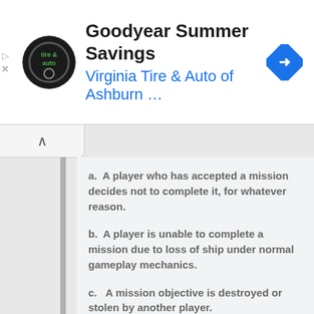[Figure (screenshot): Advertisement banner for Goodyear Summer Savings by Virginia Tire & Auto of Ashburn, with logo and navigation arrow icon]
a.  A player who has accepted a mission decides not to complete it, for whatever reason.
b.  A player is unable to complete a mission due to loss of ship under normal gameplay mechanics.
c.   A mission objective is destroyed or stolen by another player.